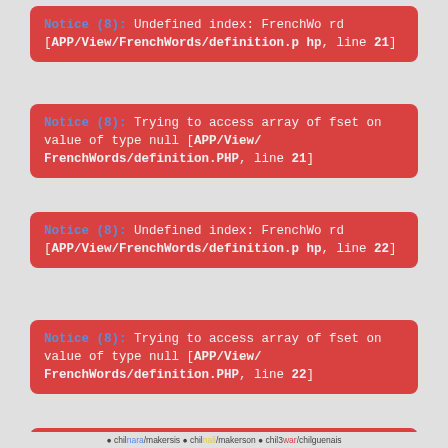Notice (8): Undefined index: FrenchWord [APP/View/FrenchWords/definition.php, line 21]
Notice (8): Trying to access array offset on value of type null [APP/View/FrenchWords/definition.php, line 21]
Notice (8): Undefined index: FrenchWord [APP/View/FrenchWords/definition.php, line 22]
Notice (8): Trying to access array offset on value of type null [APP/View/FrenchWords/definition.php, line 22]
Notice (8): Undefined index: FrenchWord [APP/View/FrenchWords/definition.php, line 23]
• children/makersis • children/makerson • children/3war/chilguenais